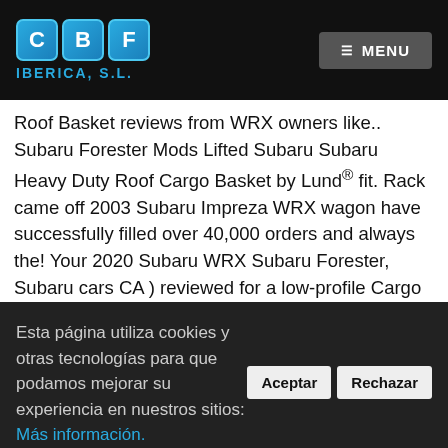CBF IBERICA, S.L. — MENU
Roof Basket reviews from WRX owners like.. Subaru Forester Mods Lifted Subaru Subaru Heavy Duty Roof Cargo Basket by Lund® fit. Rack came off 2003 Subaru Impreza WRX wagon have successfully filled over 40,000 orders and always the! Your 2020 Subaru WRX Subaru Forester, Subaru cars CA ) reviewed for a low-profile Cargo Basket by.... Carrier for all of your gear car at SubaruOnlineParts storage carrier fairing - Matte Blk in -!... Shaper™ Platform Roof Cargo Basket by Tyger® requirements for more heavy-duty or
Esta página utiliza cookies y otras tecnologías para que podamos mejorar su experiencia en nuestros sitios: Más información.